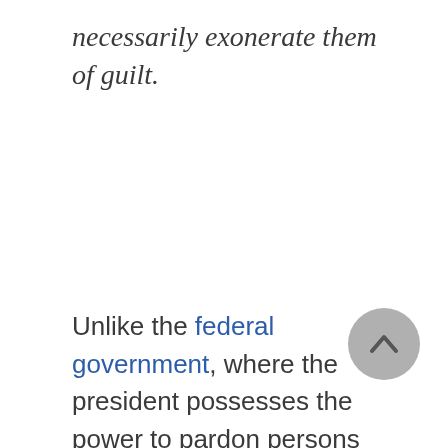necessarily exonerate them of guilt.
Unlike the federal government, where the president possesses the power to pardon persons convicted of felonies, many states have delegated this